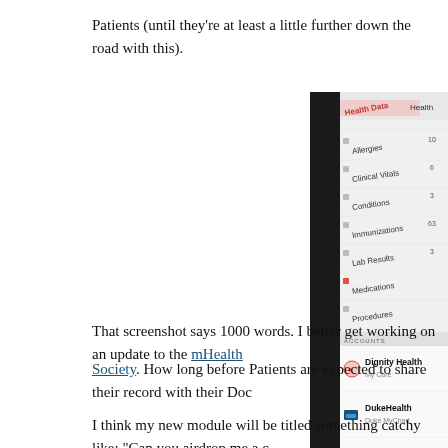Patients (until they're at least a little further down the road with this).
[Figure (screenshot): Screenshot of a health app interface showing health data categories: Allergies, Clinical Vitals, Conditions, Immunizations (63), Lab Results (3), Medications, Procedures. Under ACCOUNTS section: Dignity Health (My Care), DukeHealth (Duke MyChart), UNC Health Care (My UNC Chart), and Add Account button in red.]
That screenshot says 1000 words. I better get working on an update to the mHealth Society. How long before Patients are expected to share their record with their Doc
I think my new module will be titled something catchy like: "Can you airdrop me a c